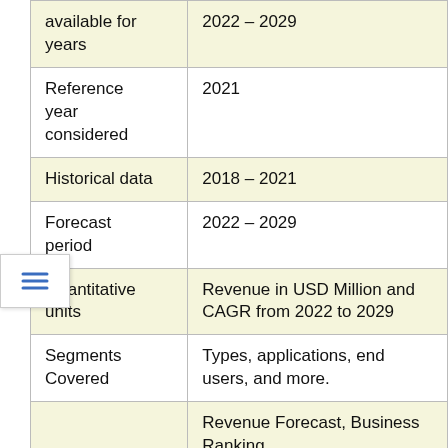|  |  |
| --- | --- |
| available for years | 2022 – 2029 |
| Reference year considered | 2021 |
| Historical data | 2018 – 2021 |
| Forecast period | 2022 – 2029 |
| Quantitative units | Revenue in USD Million and CAGR from 2022 to 2029 |
| Segments Covered | Types, applications, end users, and more. |
|  | Revenue Forecast, Business Ranking, |